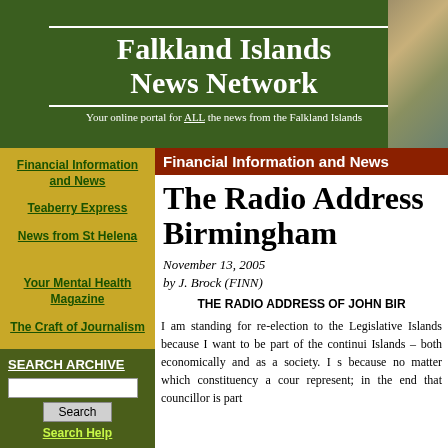Falkland Islands News Network
Your online portal for ALL the news from the Falkland Islands
Financial Information and News
Financial Information and News
Teaberry Express
News from St Helena
Your Mental Health Magazine
The Craft of Journalism
The Radio Address Birmingham
November 13, 2005
by J. Brock (FINN)
THE RADIO ADDRESS OF JOHN BIR
I am standing for re-election to the Legislative Islands because I want to be part of the continui Islands – both economically and as a society. I s because no matter which constituency a cour represent; in the end that councillor is part